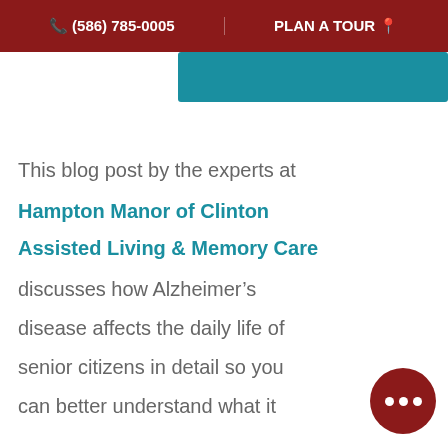📞 (586) 785-0005   PLAN A TOUR 📍
[Figure (other): Teal blue button/banner cropped at top]
This blog post by the experts at Hampton Manor of Clinton Assisted Living & Memory Care discusses how Alzheimer's disease affects the daily life of senior citizens in detail so you can better understand what it means to live with this disease.